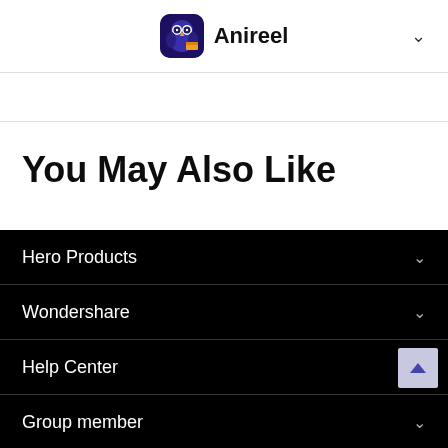Anireel
You May Also Like
Hero Products
Wondershare
Help Center
Group member